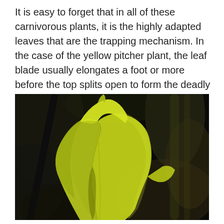It is easy to forget that in all of these carnivorous plants, it is the highly adapted leaves that are the trapping mechanism. In the case of the yellow pitcher plant, the leaf blade usually elongates a foot or more before the top splits open to form the deadly pitfall trap.
[Figure (photo): Close-up photograph of a yellow pitcher plant leaf (Sarracenia flava) showing the elongated leaf blade that has split open at the top to form the pitfall trap structure. The leaf is yellow-green in color against a dark, blurred background.]